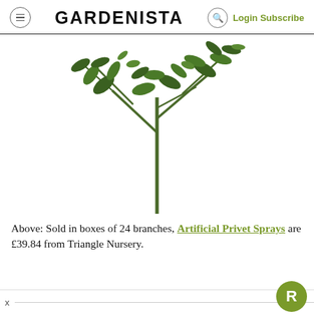GARDENISTA  Login Subscribe
[Figure (photo): Artificial privet spray branch with green leaves on white background]
Above: Sold in boxes of 24 branches, Artificial Privet Sprays are £39.84 from Triangle Nursery.